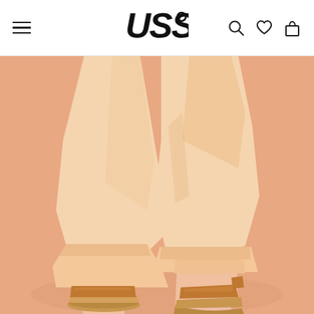USS logo navigation header with hamburger menu, search, wishlist, and cart icons
[Figure (photo): Close-up photo of woman's legs wearing tan/mustard flat slide sandals with wide strap, paired with cuffed light peach/cream wide-leg trousers, walking on peach/salmon colored background]